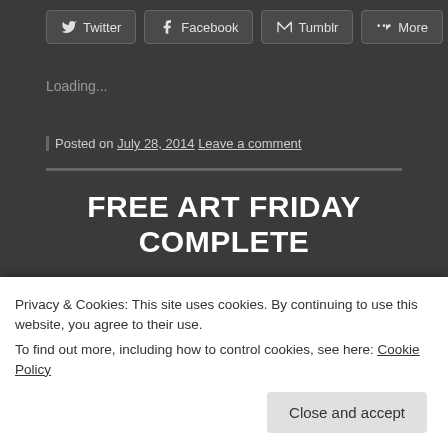[Figure (other): Social share buttons: Twitter, Facebook, Tumblr, More]
Loading...
Posted on July 28, 2014 Leave a comment
FREE ART FRIDAY COMPLETE
Free Art Friday was once again a success.  Thanks
Privacy & Cookies: This site uses cookies. By continuing to use this website, you agree to their use.
To find out more, including how to control cookies, see here: Cookie Policy
Close and accept